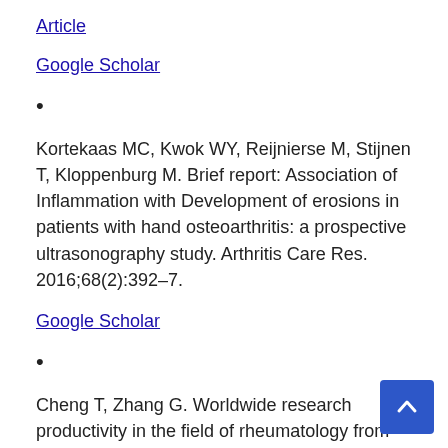Article
Google Scholar
Kortekaas MC, Kwok WY, Reijnierse M, Stijnen T, Kloppenburg M. Brief report: Association of Inflammation with Development of erosions in patients with hand osteoarthritis: a prospective ultrasonography study. Arthritis Care Res. 2016;68(2):392–7.
Google Scholar
Cheng T, Zhang G. Worldwide research productivity in the field of rheumatology from